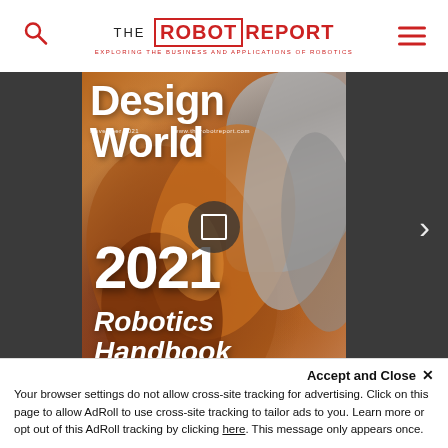THE ROBOT REPORT — EXPLORING THE BUSINESS AND APPLICATIONS OF ROBOTICS
[Figure (photo): Magazine cover of Design World November 2021 showing a robotic arm in copper/orange color with text '2021 Robotics Handbook']
Accept and Close ✕
Your browser settings do not allow cross-site tracking for advertising. Click on this page to allow AdRoll to use cross-site tracking to tailor ads to you. Learn more or opt out of this AdRoll tracking by clicking here. This message only appears once.